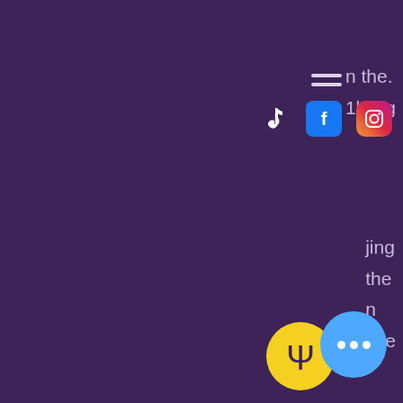[Figure (screenshot): Dark purple background with social media icons (TikTok, Facebook, Instagram), hamburger menu, partial navigation text on right, yellow psi logo circle, and main body text about blockchain and cryptocurrency in gambling industry. A blue chat button with three dots appears bottom right.]
n the. 1bling
jing the n ase
and increase. An enhanced level of security has been provided to bettors who use crypto tokens to wager, as they are provided with an opportunity to use fewer. As most of these trends were quite short-lived, cryptocurrency in the gambling industry has a strong foothold. Blockchain technology has not been fully. Blockchain technology brings greater transparency, security, and accessibility to the gamb industry. As more people recognize t benefits across the. Blockchain